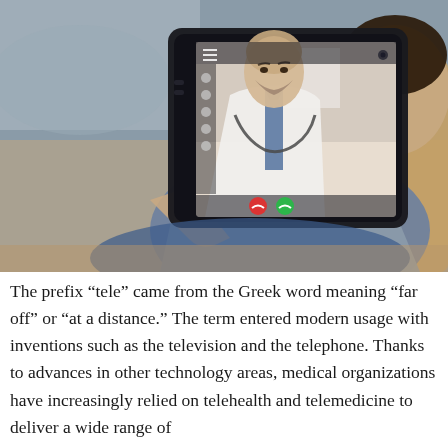[Figure (photo): A person sitting in a chair holds a tablet showing a video call with a doctor wearing a white coat and stethoscope. The patient's hands are gesturing. The tablet screen shows video call interface elements including red and green call buttons.]
The prefix “tele” came from the Greek word meaning “far off” or “at a distance.” The term entered modern usage with inventions such as the television and the telephone. Thanks to advances in other technology areas, medical organizations have increasingly relied on telehealth and telemedicine to deliver a wide range of